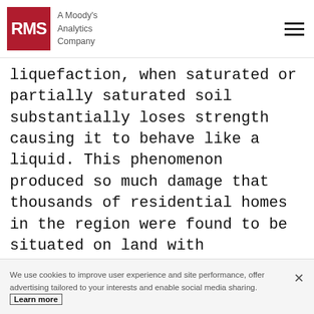RMS — A Moody's Analytics Company
liquefaction, when saturated or partially saturated soil substantially loses strength causing it to behave like a liquid. This phenomenon produced so much damage that thousands of residential homes in the region were found to be situated on land with liquefaction susceptibility too hazardous for repairs or rebuilding. They were subsequently designated within the government red zone and demolished.
We use cookies to improve user experience and site performance, offer advertising tailored to your interests and enable social media sharing. Learn more